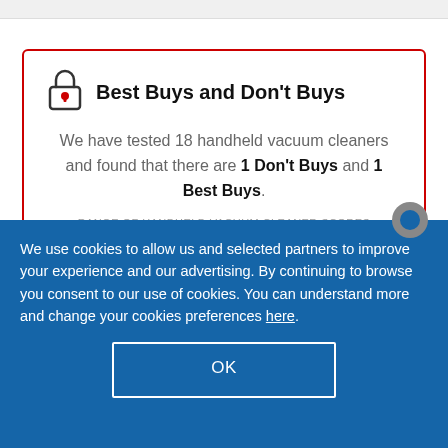Best Buys and Don't Buys
We have tested 18 handheld vacuum cleaners and found that there are 1 Don't Buys and 1 Best Buys.
RANGE OF HANDHELD VACUUM CLEANER SCORES
We use cookies to allow us and selected partners to improve your experience and our advertising. By continuing to browse you consent to our use of cookies. You can understand more and change your cookies preferences here.